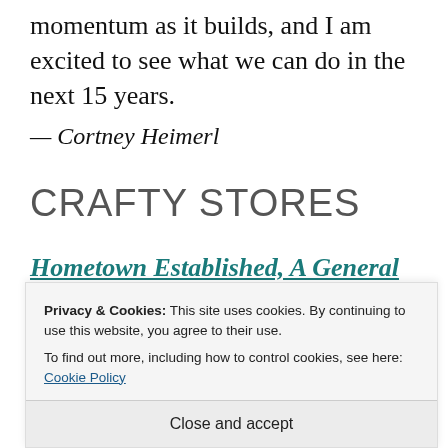momentum as it builds, and I am excited to see what we can do in the next 15 years.
— Cortney Heimerl
CRAFTY STORES
Hometown Established, A General Store
321 W. National Ave., Milwaukee, WI 53204
Hometown Established was created to give
Milwaukee an option for locally sourced
Privacy & Cookies: This site uses cookies. By continuing to use this website, you agree to their use.
To find out more, including how to control cookies, see here: Cookie Policy
Close and accept